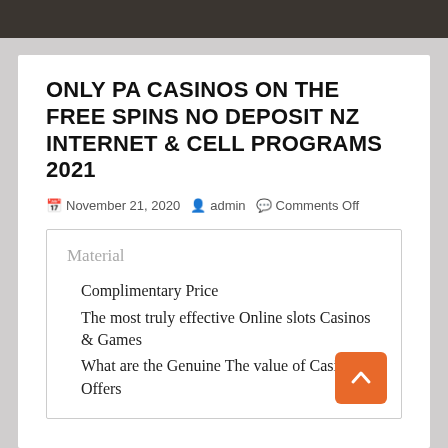[Figure (photo): Dark background image strip at top of page]
ONLY PA CASINOS ON THE FREE SPINS NO DEPOSIT NZ INTERNET & CELL PROGRAMS 2021
November 21, 2020  admin  Comments Off
Material
Complimentary Price
The most truly effective Online slots Casinos & Games
What are the Genuine The value of Casino Offers